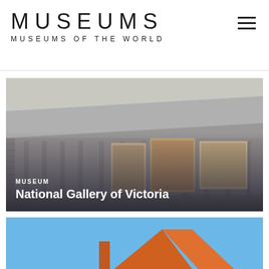MUSEUMS
MUSEUMS OF THE WORLD
[Figure (photo): Exterior photograph of the National Gallery of Victoria building — a large modernist structure with a wide overhanging concrete roof, brick facade, and exhibition posters visible on the wall. Blue sky in the background. Overlaid text reads 'MUSEUM' and 'National Gallery of Victoria'.]
MUSEUM
National Gallery of Victoria
[Figure (photo): Partial view of a second museum card below, showing a blue sky and what appears to be an orange geometric sculpture or structure.]